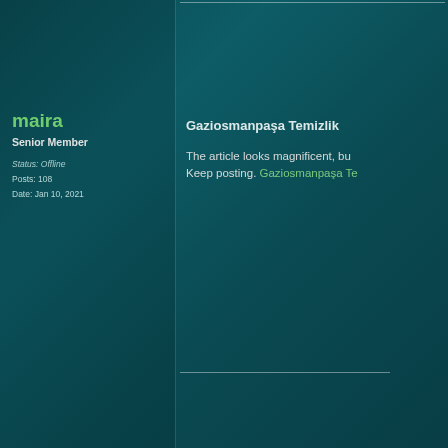maira
Senior Member
Status: Offline
Posts: 108
Date: Jan 10, 2021
Gaziosmanpaşa Temizlik
The article looks magnificent, bu... Keep posting. Gaziosmanpaşa Te...
lelog86002
Member
Status: Offline
Posts: 5
Date: Jan 10, 2021
RE: How to Connect Canon MG3...
Telegram channel links Telegram...
GarbageBinRental